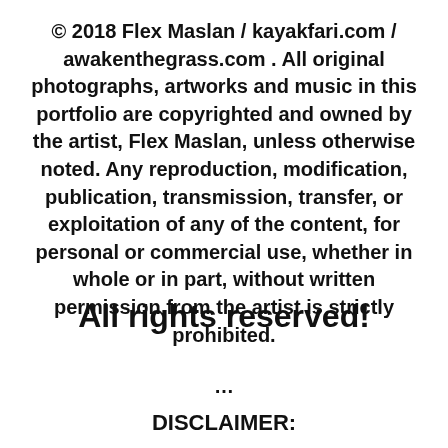© 2018 Flex Maslan / kayakfari.com / awakenthegrass.com . All original photographs, artworks and music in this portfolio are copyrighted and owned by the artist, Flex Maslan, unless otherwise noted. Any reproduction, modification, publication, transmission, transfer, or exploitation of any of the content, for personal or commercial use, whether in whole or in part, without written permission from the artist is strictly prohibited.
All rights reserved!
...
DISCLAIMER: